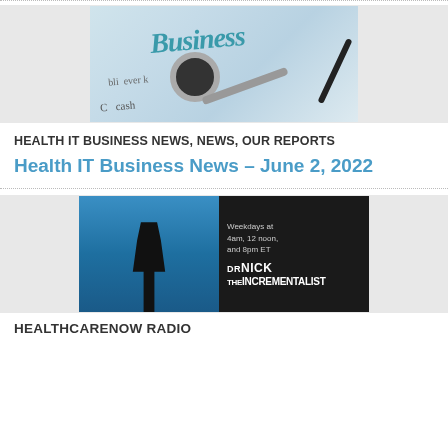[Figure (photo): Photo of a stethoscope placed on a newspaper with the word 'Business' visible in teal/blue lettering]
HEALTH IT BUSINESS NEWS, NEWS, OUR REPORTS
Health IT Business News – June 2, 2022
[Figure (photo): Promotional image for 'DR NICK THE INCREMENTALIST' show with silhouette of a doctor and text 'Weekdays at 4am, 12 noon, and 8pm ET']
HEALTHCARENOW RADIO